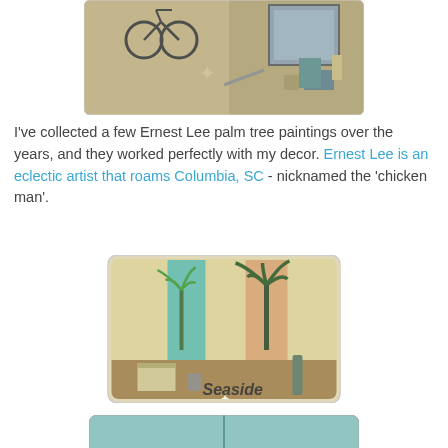[Figure (photo): Photo of decorative items on a wooden floor including a bicycle ornament, starfish, and other decor pieces]
I've collected a few Ernest Lee palm tree paintings over the years, and they worked perfectly with my decor. Ernest Lee is an eclectic artist that roams Columbia, SC - nicknamed the 'chicken man'.
[Figure (photo): Photo of palm tree paintings displayed on a wall with text 'Seaside' visible at the bottom]
[Figure (photo): Partial photo at bottom of page showing another scene]